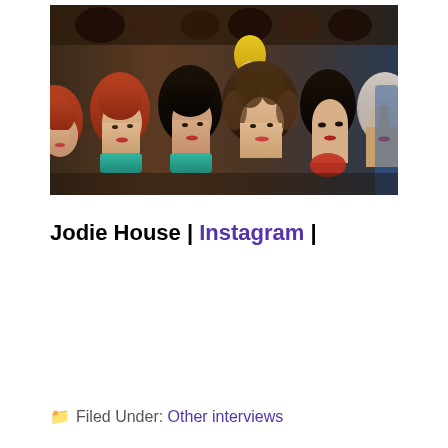[Figure (photo): Photograph of multiple mannequin heads wearing various wigs in a wig shop. Wigs are of different colors including red, black, brown, curly, and straight styles. Background shows more wigs hanging on display.]
Jodie House | Instagram |
Filed Under: Other interviews